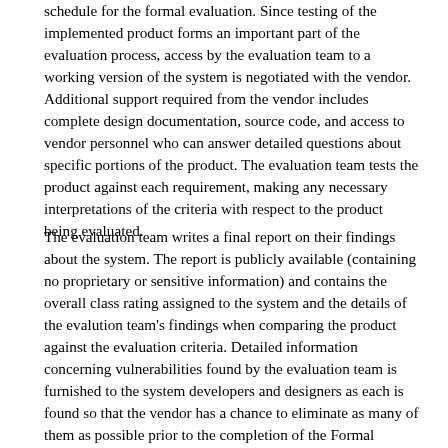schedule for the formal evaluation. Since testing of the implemented product forms an important part of the evaluation process, access by the evaluation team to a working version of the system is negotiated with the vendor. Additional support required from the vendor includes complete design documentation, source code, and access to vendor personnel who can answer detailed questions about specific portions of the product. The evaluation team tests the product against each requirement, making any necessary interpretations of the criteria with respect to the product being evaluated.
The evaluation team writes a final report on their findings about the system. The report is publicly available (containing no proprietary or sensitive information) and contains the overall class rating assigned to the system and the details of the evalution team's findings when comparing the product against the evaluation criteria. Detailed information concerning vulnerabilities found by the evaluation team is furnished to the system developers and designers as each is found so that the vendor has a chance to eliminate as many of them as possible prior to the completion of the Formal Product Evaluation. Vulnerability analyses and other proprietary or sensitive information are controlled within the Center through the Vulnerability